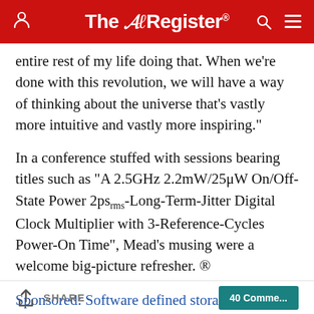The Register
entire rest of my life doing that. When we're done with this revolution, we will have a way of thinking about the universe that's vastly more intuitive and vastly more inspiring."
In a conference stuffed with sessions bearing titles such as "A 2.5GHz 2.2mW/25μW On/Off-State Power 2ps_rms-Long-Term-Jitter Digital Clock Multiplier with 3-Reference-Cycles Power-On Time", Mead's musing were a welcome big-picture refresher. ®
Sponsored: Software defined storage IS the future. Get the definitive take right here
SHARE  |  40 Comments